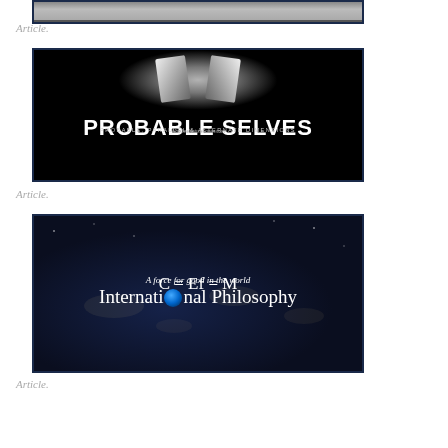[Figure (photo): Partial image at the top of the page, cropped]
Article.
[Figure (photo): Probable Selves - Probable, Parallel & Alternate Dimensions banner image with dark background and glowing white shapes]
Article.
[Figure (photo): International Philosophy banner: A force for good in the world, C = Ef = M, International Philosophy, dark map background with earth globe]
Article.